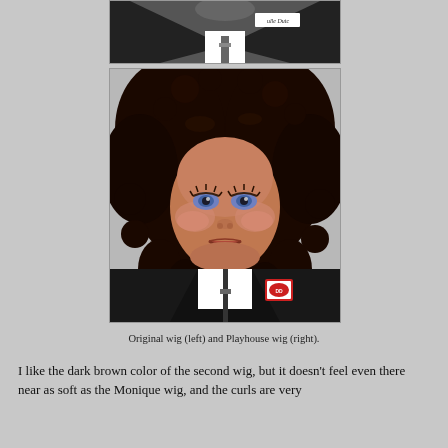[Figure (photo): Partial top photo showing a doll wearing a black jacket with a white shirt, cropped at the chest/neck area. A small badge or label is visible.]
[Figure (photo): Close-up portrait of a doll with long dark brown curly hair, blue/violet eyes, medium skin tone, wearing a black zip-up hoodie over a white shirt with a small patch/badge on it. The background is light gray.]
Original wig (left) and Playhouse wig (right).
I like the dark brown color of the second wig, but it doesn't feel even there near as soft as the Monique wig, and the curls are very